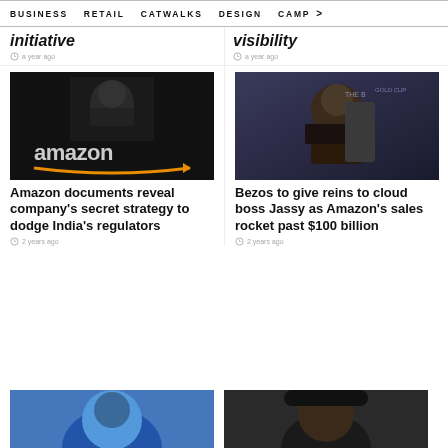BUSINESS   RETAIL   CATWALKS   DESIGN   CAMP >
initiative
a year ago
visibility
a year ago
[Figure (photo): Jeff Bezos standing at a podium in front of an Amazon logo sign on a dark background]
Amazon documents reveal company's secret strategy to dodge India's regulators
2 years ago
[Figure (photo): Jeff Bezos seated at an event in a suit and tie against a dark blue branded backdrop]
Bezos to give reins to cloud boss Jassy as Amazon's sales rocket past $100 billion
2 years ago
[Figure (photo): Partial image at bottom left, person's face partially visible with blue background]
[Figure (photo): Partial image at bottom right, person with hat against dark background]